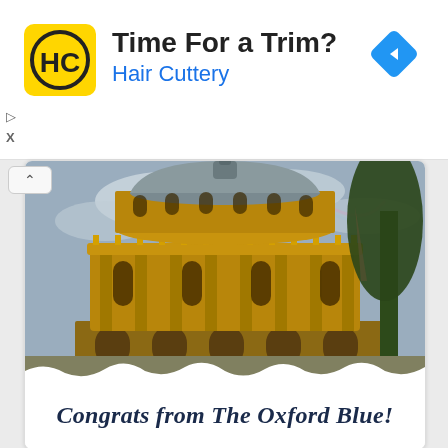[Figure (logo): Hair Cuttery ad banner with HC logo in yellow square, title 'Time For a Trim?', subtitle 'Hair Cuttery' in blue, blue navigation diamond icon top right, play and close controls bottom left]
[Figure (photo): Photograph of the Radcliffe Camera, Oxford, a grand circular neoclassical building with dome, golden stone facade, arched windows, under a cloudy sky with a faint rainbow, dark tree on the right, church spire behind. Part of a social media post card with a torn paper effect at the bottom.]
Congrats from The Oxford Blue!